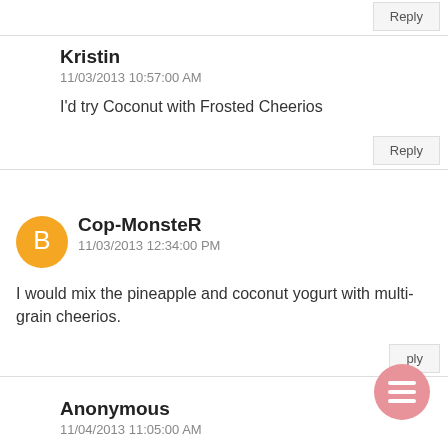Reply
Kristin
11/03/2013 10:57:00 AM
I'd try Coconut with Frosted Cheerios
Reply
Cop-MonsteR
11/03/2013 12:34:00 PM
I would mix the pineapple and coconut yogurt with multi-grain cheerios.
Reply
Anonymous
11/04/2013 11:05:00 AM